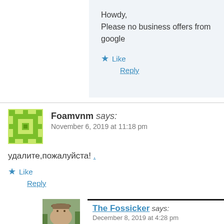Howdy,
Please no business offers from google
Like
Reply
Foamvnm says:
November 6, 2019 at 11:18 pm
удалите,пожалуйста! .
Like
Reply
The Fossicker says:
December 8, 2019 at 4:28 pm